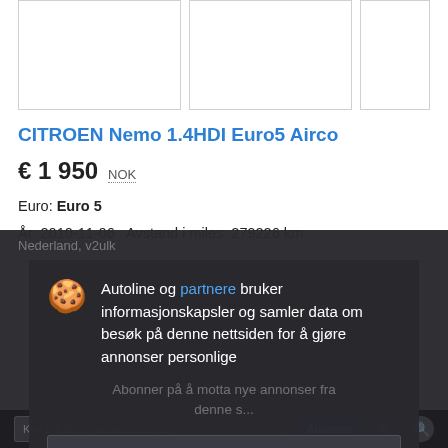[Figure (photo): Three car listing image placeholders in a row]
CITROEN Nemo 1.4HDI Euro5 Airco
€ 1 950  NOK
Euro: Euro 5
År: 2010-11-06   Avstand i miles: 279226 km
Autoline og partnere bruker informasjonskapsler og samler data om besøk på denne nettsiden for å gjøre annonser personlige
Detaljer
Godta og lukk